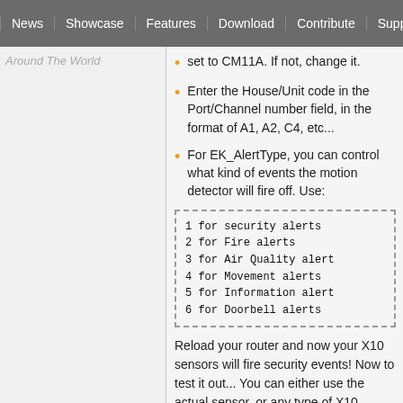News | Showcase | Features | Download | Contribute | Support
Around The World
set to CM11A. If not, change it.
Enter the House/Unit code in the Port/Channel number field, in the format of A1, A2, C4, etc...
For EK_AlertType, you can control what kind of events the motion detector will fire off. Use:
1 for security alerts
2 for Fire alerts
3 for Air Quality alert
4 for Movement alerts
5 for Information alert
6 for Doorbell alerts
Reload your router and now your X10 sensors will fire security events! Now to test it out... You can either use the actual sensor, or any type of X10 wireless remote to test alarm trips. If using an external X10 remote, just use the remote as if you were controlling a